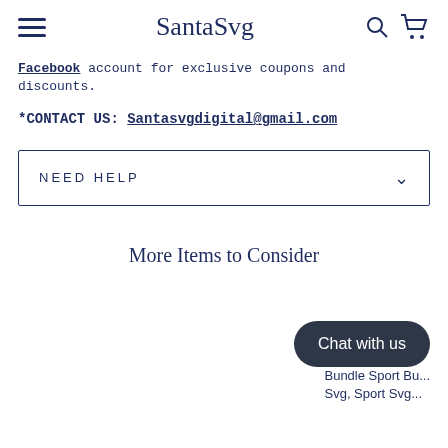SantaSvg
Facebook account for exclusive coupons and discounts.
*CONTACT US: Santasvgdigital@gmail.com
NEED HELP
More Items to Consider
Chat with us
Bundle Sport Bu...
Svg, Sport Svg...